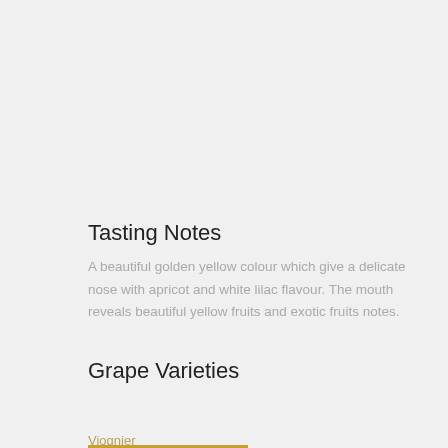Tasting Notes
A beautiful golden yellow colour which give a delicate nose with apricot and white lilac flavour. The mouth reveals beautiful yellow fruits and exotic fruits notes.
Grape Varieties
Viognier